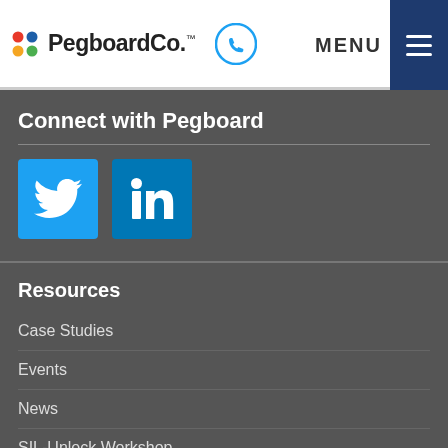[Figure (logo): PegboardCo logo with colorful dots and phone icon, plus MENU button]
Connect with Pegboard
[Figure (infographic): Twitter and LinkedIn social media icon buttons]
Resources
Case Studies
Events
News
SIL-Unlock Workshop